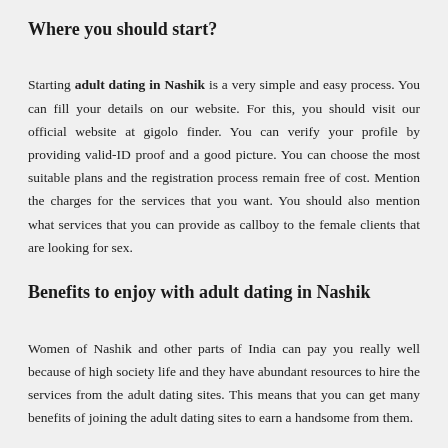Where you should start?
Starting adult dating in Nashik is a very simple and easy process. You can fill your details on our website. For this, you should visit our official website at gigolo finder. You can verify your profile by providing valid-ID proof and a good picture. You can choose the most suitable plans and the registration process remain free of cost. Mention the charges for the services that you want. You should also mention what services that you can provide as callboy to the female clients that are looking for sex.
Benefits to enjoy with adult dating in Nashik
Women of Nashik and other parts of India can pay you really well because of high society life and they have abundant resources to hire the services from the adult dating sites. This means that you can get many benefits of joining the adult dating sites to earn a handsome from them.